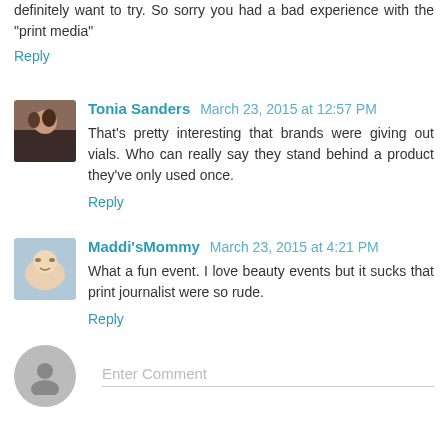definitely want to try. So sorry you had a bad experience with the "print media"
Reply
Tonia Sanders  March 23, 2015 at 12:57 PM
That's pretty interesting that brands were giving out vials. Who can really say they stand behind a product they've only used once.
Reply
Maddi'sMommy  March 23, 2015 at 4:21 PM
What a fun event. I love beauty events but it sucks that print journalist were so rude.
Reply
Enter Comment